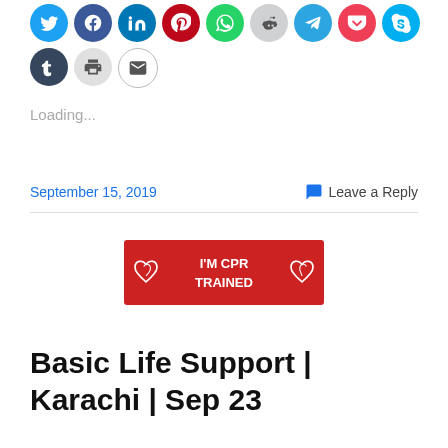[Figure (infographic): Row of social media sharing icon circles: Twitter, Facebook, LinkedIn, Pinterest, WhatsApp, Reddit, Telegram, Pocket, Skype, Tumblr, Print, Email]
Loading...
September 15, 2019    Leave a Reply
[Figure (logo): Red banner badge reading I'M CPR TRAINED with two heart icons on either side]
Basic Life Support | Karachi | Sep 23